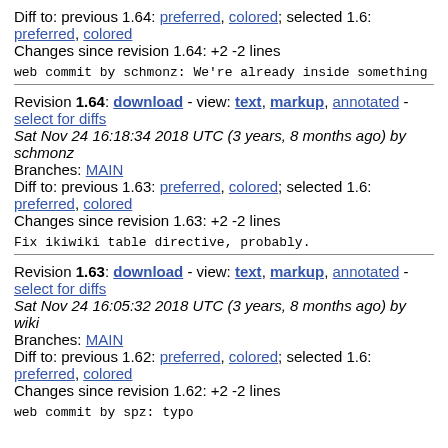Diff to: previous 1.64: preferred, colored; selected 1.6: preferred, colored
Changes since revision 1.64: +2 -2 lines
web commit by schmonz: We're already inside something tr
Revision 1.64: download - view: text, markup, annotated - select for diffs
Sat Nov 24 16:18:34 2018 UTC (3 years, 8 months ago) by schmonz
Branches: MAIN
Diff to: previous 1.63: preferred, colored; selected 1.6: preferred, colored
Changes since revision 1.63: +2 -2 lines
Fix ikiwiki table directive, probably.
Revision 1.63: download - view: text, markup, annotated - select for diffs
Sat Nov 24 16:05:32 2018 UTC (3 years, 8 months ago) by wiki
Branches: MAIN
Diff to: previous 1.62: preferred, colored; selected 1.6: preferred, colored
Changes since revision 1.62: +2 -2 lines
web commit by spz: typo